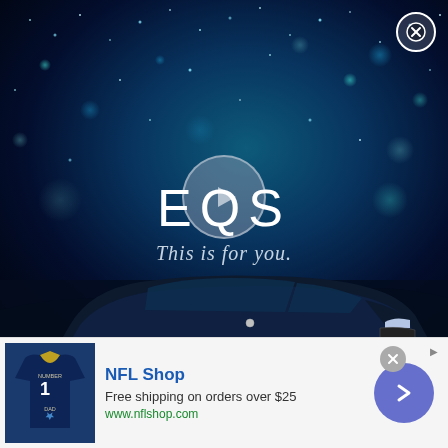[Figure (photo): Mercedes-Benz EQS advertisement video overlay. Dark blue night sky background with teal/cyan bokeh light particles. A play button circle is centered in the upper portion. The EQS logo and tagline 'This is for you.' appear in the lower center. A dark blue Mercedes-Benz EQS sedan is shown at the bottom. A close (X) button appears in the top-right corner.]
EQS
This is for you.
[Figure (photo): NFL Shop advertisement banner. Shows a navy blue Dallas Cowboys jersey/shirt with 'NUMBER 1 DAD' text. NFL Shop logo and text: 'Free shipping on orders over $25', 'www.nflshop.com'. Blue arrow button on the right. Close button and 'Ad' label in top-right.]
NFL Shop
Free shipping on orders over $25
www.nflshop.com